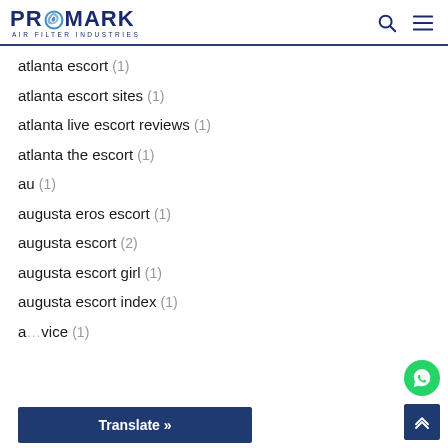PROMARK AIR FILTER INDUSTRIES
atlanta escort (1)
atlanta escort sites (1)
atlanta live escort reviews (1)
atlanta the escort (1)
au (1)
augusta eros escort (1)
augusta escort (2)
augusta escort girl (1)
augusta escort index (1)
a...vice (1)
Translate »